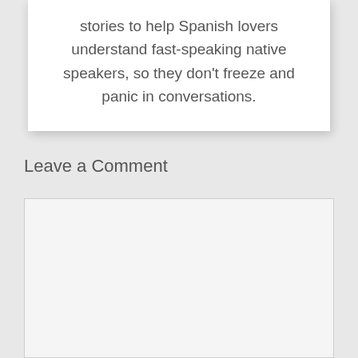stories to help Spanish lovers understand fast-speaking native speakers, so they don't freeze and panic in conversations.
Leave a Comment
[Figure (other): Empty comment text area input box with light gray background and border]